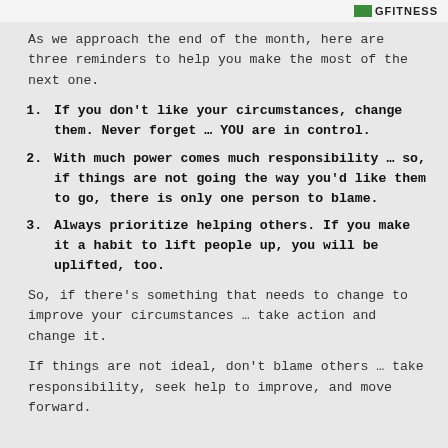GFITNESS
As we approach the end of the month, here are three reminders to help you make the most of the next one.
If you don't like your circumstances, change them. Never forget … YOU are in control.
With much power comes much responsibility … so, if things are not going the way you'd like them to go, there is only one person to blame.
Always prioritize helping others. If you make it a habit to lift people up, you will be uplifted, too.
So, if there's something that needs to change to improve your circumstances … take action and change it.
If things are not ideal, don't blame others … take responsibility, seek help to improve, and move forward.